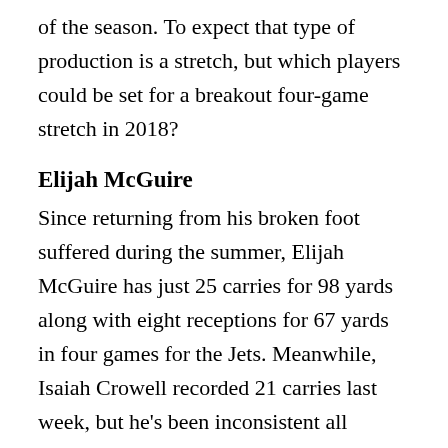of the season. To expect that type of production is a stretch, but which players could be set for a breakout four-game stretch in 2018?
Elijah McGuire
Since returning from his broken foot suffered during the summer, Elijah McGuire has just 25 carries for 98 yards along with eight receptions for 67 yards in four games for the Jets. Meanwhile, Isaiah Crowell recorded 21 carries last week, but he's been inconsistent all season for a team that isn't headed to the postseason. The Jets might decide to give McGuire an opportunity to see what he can do as a 15-20+